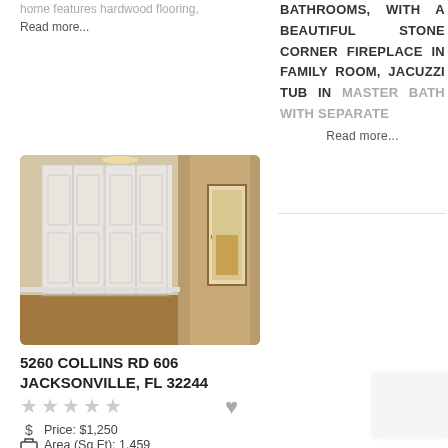home features hardwood flooring, Read more...
BATHROOMS, WITH A BEAUTIFUL STONE CORNER FIREPLACE IN FAMILY ROOM, JACUZZI TUB IN MASTER BATH WITH SEPARATE Read more...
[Figure (photo): Interior photo of a bedroom/hallway area showing white bifold closet doors on the left and a hallway leading to a bathroom on the right, with beige/tan carpet flooring.]
5260 COLLINS RD 606 JACKSONVILLE, FL 32244
★★★★★ (empty stars rating)
$ Price: $1,250
Area (Sq Ft): 1,459
Property Type: Town House
Property Status: Rented